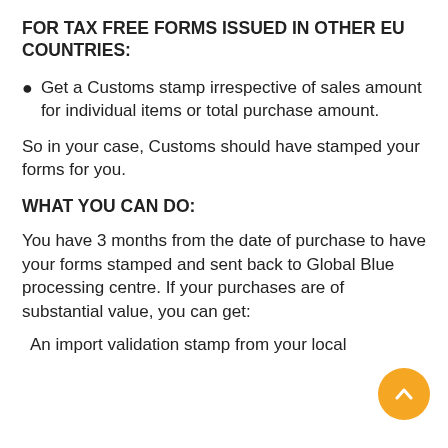FOR TAX FREE FORMS ISSUED IN OTHER EU COUNTRIES:
Get a Customs stamp irrespective of sales amount for individual items or total purchase amount.
So in your case, Customs should have stamped your forms for you.
WHAT YOU CAN DO:
You have 3 months from the date of purchase to have your forms stamped and sent back to Global Blue processing centre. If your purchases are of substantial value, you can get:
An import validation stamp from your local